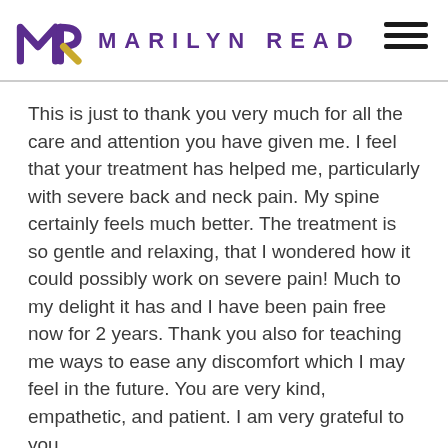MARILYN READ
This is just to thank you very much for all the care and attention you have given me. I feel that your treatment has helped me, particularly with severe back and neck pain. My spine certainly feels much better. The treatment is so gentle and relaxing, that I wondered how it could possibly work on severe pain! Much to my delight it has and I have been pain free now for 2 years. Thank you also for teaching me ways to ease any discomfort which I may feel in the future. You are very kind, empathetic, and patient. I am very grateful to you.